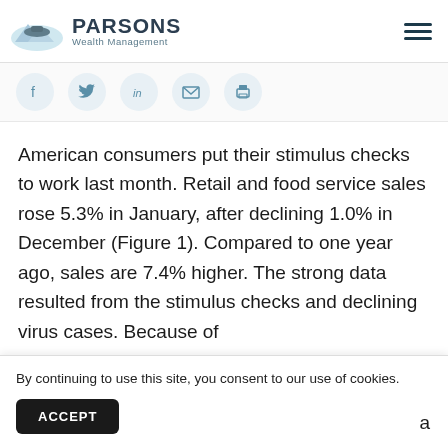PARSONS Wealth Management
[Figure (other): Social sharing icons: Facebook, Twitter, LinkedIn, Email, Print]
American consumers put their stimulus checks to work last month. Retail and food service sales rose 5.3% in January, after declining 1.0% in December (Figure 1). Compared to one year ago, sales are 7.4% higher. The strong data resulted from the stimulus checks and declining virus cases. Because of re... re... s...
By continuing to use this site, you consent to our use of cookies.
ACCEPT